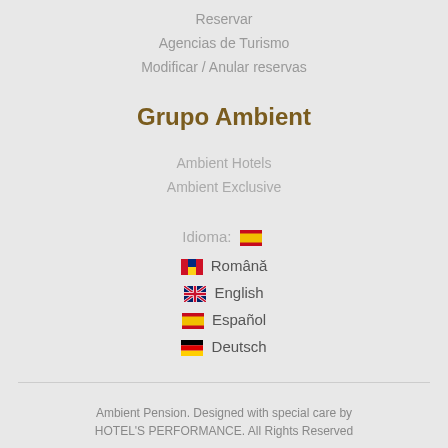Reservar
Agencias de Turismo
Modificar / Anular reservas
Grupo Ambient
Ambient Hotels
Ambient Exclusive
Idioma: 🇪🇸
🇷🇴 Română
🇬🇧 English
🇪🇸 Español
🇩🇪 Deutsch
Ambient Pension. Designed with special care by HOTEL'S PERFORMANCE. All Rights Reserved